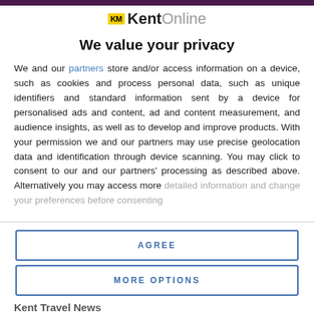[Figure (logo): KM KentOnline logo with yellow KM badge and grey 'Online' text]
We value your privacy
We and our partners store and/or access information on a device, such as cookies and process personal data, such as unique identifiers and standard information sent by a device for personalised ads and content, ad and content measurement, and audience insights, as well as to develop and improve products. With your permission we and our partners may use precise geolocation data and identification through device scanning. You may click to consent to our and our partners' processing as described above. Alternatively you may access more detailed information and change your preferences before consenting
AGREE
MORE OPTIONS
Kent Travel News